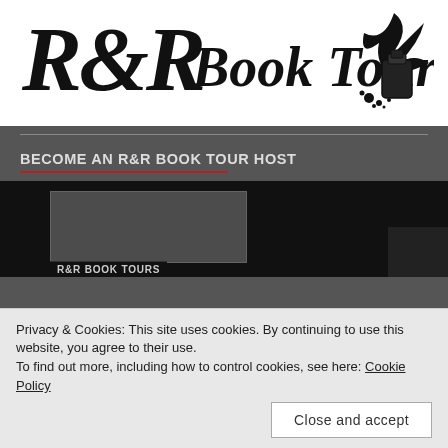[Figure (logo): R&R Book Tours logo with decorative script lettering and ink bottle with quill illustration]
BECOME AN R&R BOOK TOUR HOST
[Figure (screenshot): Dark video/image block showing a blurred book-related image with R&R Book Tours watermark at bottom]
Privacy & Cookies: This site uses cookies. By continuing to use this website, you agree to their use.
To find out more, including how to control cookies, see here: Cookie Policy
Close and accept